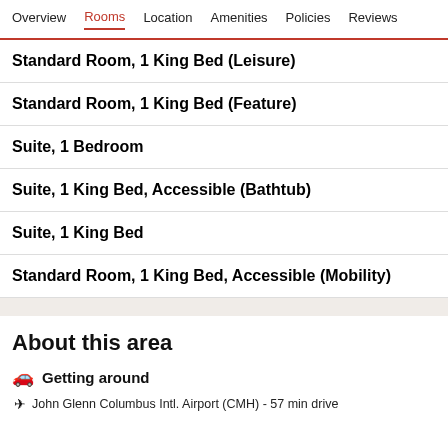Overview  Rooms  Location  Amenities  Policies  Reviews
Standard Room, 1 King Bed (Leisure)
Standard Room, 1 King Bed (Feature)
Suite, 1 Bedroom
Suite, 1 King Bed, Accessible (Bathtub)
Suite, 1 King Bed
Standard Room, 1 King Bed, Accessible (Mobility)
About this area
Getting around
John Glenn Columbus Intl. Airport (CMH) - 57 min drive